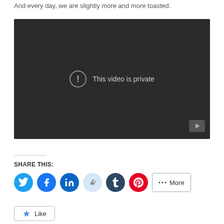And every day, we are slightly more and more toasted.
[Figure (screenshot): Embedded video player showing 'This video is private' error message on dark background with YouTube icon in bottom right corner.]
SHARE THIS:
[Figure (infographic): Social share buttons: Twitter, Facebook, LinkedIn, Reddit, Tumblr, Pinterest, and a More button.]
Like